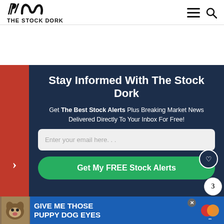THE STOCK DORK
[Figure (screenshot): Email newsletter signup modal overlay on The Stock Dork website. Dark navy blue panel with red left accent bar. Title: 'Stay Informed With The Stock Dork'. Subtitle: 'Get The Best Stock Alerts Plus Breaking Market News Delivered Directly To Your Inbox For Free!'. Email input field with placeholder 'Enter your email here...'. Green CTA button 'Get My FREE Stock Alerts'.]
Stay Informed With The Stock Dork
Get The Best Stock Alerts Plus Breaking Market News Delivered Directly To Your Inbox For Free!
IonQ (N
IonQ is or multi
In fact, NVIDIA, soon to
However, thanks to a merger with dMY
[Figure (photo): Advertisement banner at bottom: 'GIVE ME THOSE PUPPY DOG EYES' with dog photo on left and Mastercard-style logo on right]